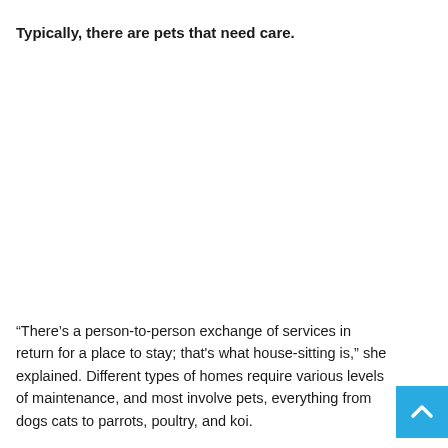Typically, there are pets that need care.
“There’s a person-to-person exchange of services in return for a place to stay; that's what house-sitting is,” she explained. Different types of homes require various levels of maintenance, and most involve pets, everything from dogs cats to parrots, poultry, and koi.